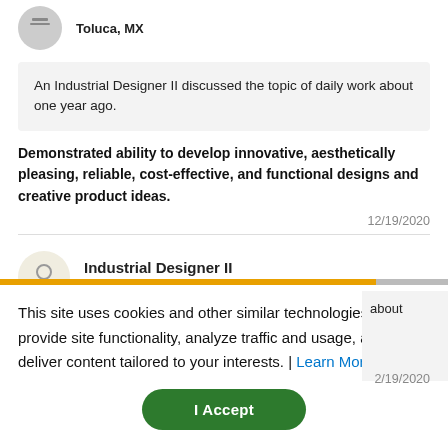Toluca, MX
An Industrial Designer II discussed the topic of daily work about one year ago.
Demonstrated ability to develop innovative, aesthetically pleasing, reliable, cost-effective, and functional designs and creative product ideas.
12/19/2020
Industrial Designer II
Morelia, MX
This site uses cookies and other similar technologies to provide site functionality, analyze traffic and usage, and deliver content tailored to your interests. | Learn More
I Accept
2/19/2020